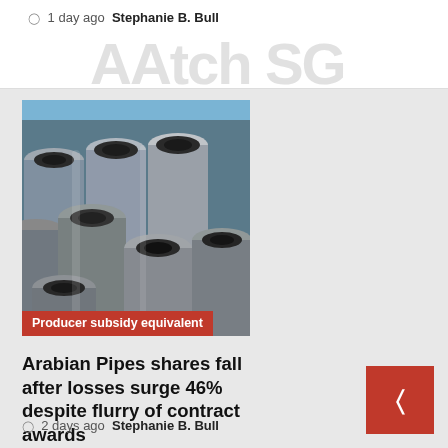AAtch SG
1 day ago   Stephanie B. Bull
[Figure (photo): Stack of stainless steel cylindrical pipes piled together, industrial setting with blue sky background. Red overlay label reads 'Producer subsidy equivalent'.]
Arabian Pipes shares fall after losses surge 46% despite flurry of contract awards
2 days ago   Stephanie B. Bull